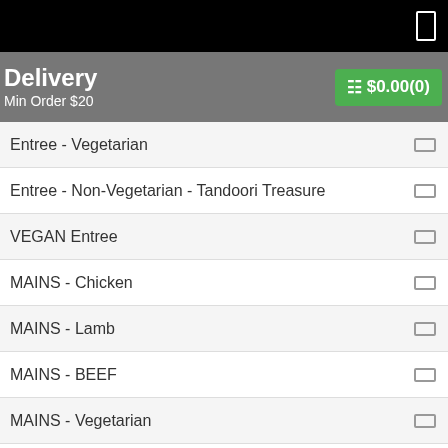Delivery | Min Order $20 | $0.00(0)
Entree - Vegetarian
Entree - Non-Vegetarian - Tandoori Treasure
VEGAN Entree
MAINS - Chicken
MAINS - Lamb
MAINS - BEEF
MAINS - Vegetarian
MAINS- Sea Food
VEGAN Main Course